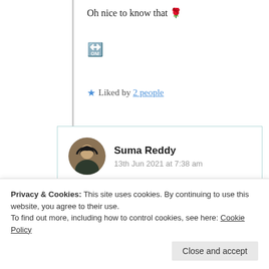Oh nice to know that 🌹
🔛
★ Liked by 2 people
Suma Reddy
13th Jun 2021 at 7:38 am
Thanks for catching the hided
Privacy & Cookies: This site uses cookies. By continuing to use this website, you agree to their use.
To find out more, including how to control cookies, see here: Cookie Policy
Close and accept